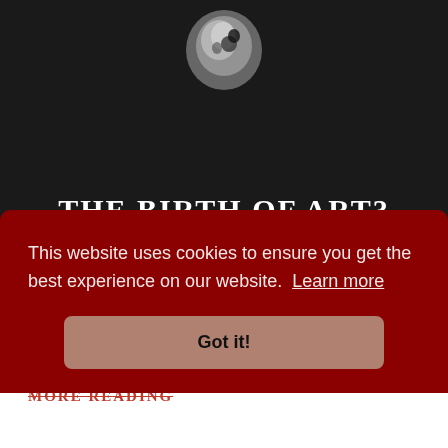[Figure (illustration): Book cover with dark background, stone artifact at top, title 'THE BIRTH OF ART?' in white serif font, subtitle 'Southeast Turkey 8000BC' in red]
Issue 26, 2002 The Birth of Art
£12.00 / $14.20 / 257.06 TL
Add to Basket
MORE READING
This website uses cookies to ensure you get the best experience on our website. Learn more
Got it!